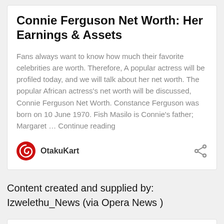Connie Ferguson Net Worth: Her Earnings & Assets
Fans always want to know how much their favorite celebrities are worth. Therefore, A popular actress will be profiled today, and we will talk about her net worth. The popular African actress's net worth will be discussed, Connie Ferguson Net Worth. Constance Ferguson was born on 10 June 1970. Fish Masilo is Connie's father; Margaret … Continue reading
OtakuKart
Content created and supplied by: Izwelethu_News (via Opera News )